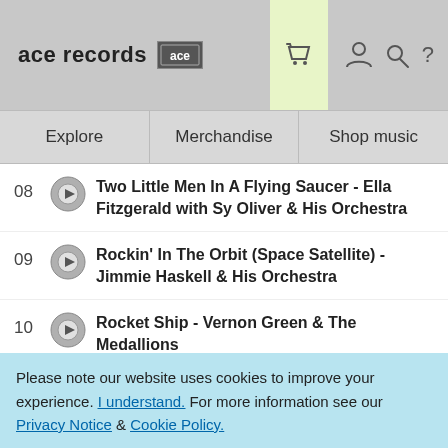ace records [ace logo]
Explore
Merchandise
Shop music
08 Two Little Men In A Flying Saucer - Ella Fitzgerald with Sy Oliver & His Orchestra
09 Rockin' In The Orbit (Space Satellite) - Jimmie Haskell & His Orchestra
10 Rocket Ship - Vernon Green & The Medallions
11 Telstar - The Tornados
Please note our website uses cookies to improve your experience. I understand. For more information see our Privacy Notice & Cookie Policy.